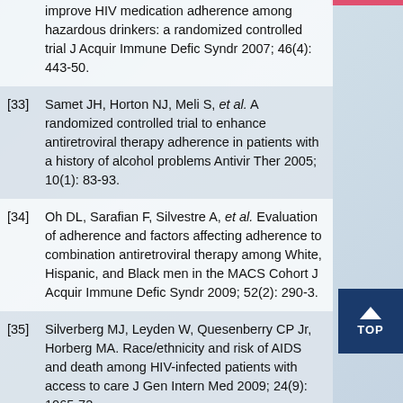[32] ...improve HIV medication adherence among hazardous drinkers: a randomized controlled trial J Acquir Immune Defic Syndr 2007; 46(4): 443-50.
[33] Samet JH, Horton NJ, Meli S, et al. A randomized controlled trial to enhance antiretroviral therapy adherence in patients with a history of alcohol problems Antivir Ther 2005; 10(1): 83-93.
[34] Oh DL, Sarafian F, Silvestre A, et al. Evaluation of adherence and factors affecting adherence to combination antiretroviral therapy among White, Hispanic, and Black men in the MACS Cohort J Acquir Immune Defic Syndr 2009; 52(2): 290-3.
[35] Silverberg MJ, Leyden W, Quesenberry CP Jr, Horberg MA. Race/ethnicity and risk of AIDS and death among HIV-infected patients with access to care J Gen Intern Med 2009; 24(9): 1065-72.
[36] Saha S, Jacobs EA, Moore RD, Beach MC. Trust in physicians and racial disparities in HIV care AIDS Patient Care